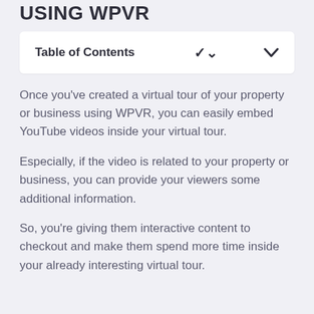USING WPVR
Table of Contents
Once you've created a virtual tour of your property or business using WPVR, you can easily embed YouTube videos inside your virtual tour.
Especially, if the video is related to your property or business, you can provide your viewers some additional information.
So, you're giving them interactive content to checkout and make them spend more time inside your already interesting virtual tour.